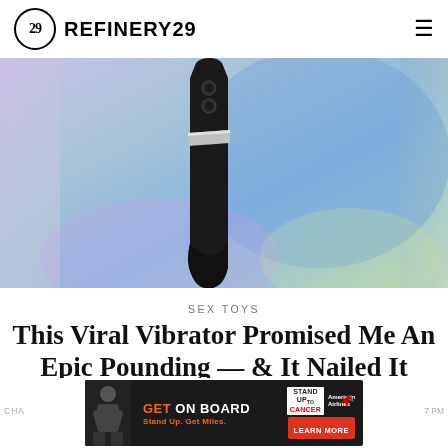REFINERY29
[Figure (photo): A black curved vibrator photographed against a soft gradient background of pastel blue, purple, and yellow-green hues.]
SEX TOYS
This Viral Vibrator Promised Me An Epic Pounding — & It Nailed It
[Figure (photo): Advertisement banner: GET ON BOARD - Stand Up To Cancer, American Airlines. Stand Up. Get Miles. LEARN MORE]